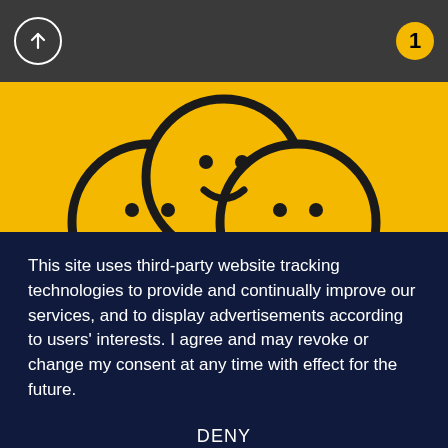↑  1
[Figure (illustration): Yellow background section showing partial circular emoji/icon buttons with thick black outlines, partially cropped at top]
This site uses third-party website tracking technologies to provide and continually improve our services, and to display advertisements according to users' interests. I agree and may revoke or change my consent at any time with effect for the future.
DENY
ACCEPT
MORE
Powered by usercentrics